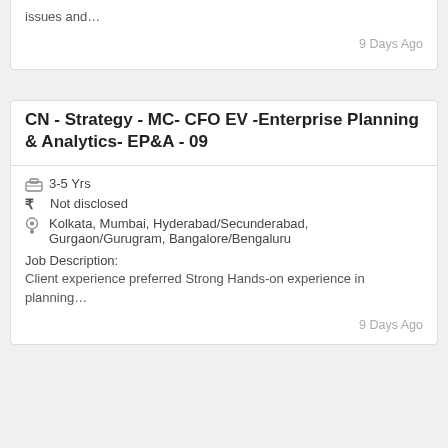issues and…
9 Days Ago
CN - Strategy - MC- CFO EV -Enterprise Planning & Analytics- EP&A - 09
3-5 Yrs
Not disclosed
Kolkata, Mumbai, Hyderabad/Secunderabad, Gurgaon/Gurugram, Bangalore/Bengaluru
Job Description:
Client experience preferred Strong Hands-on experience in planning…
9 Days Ago